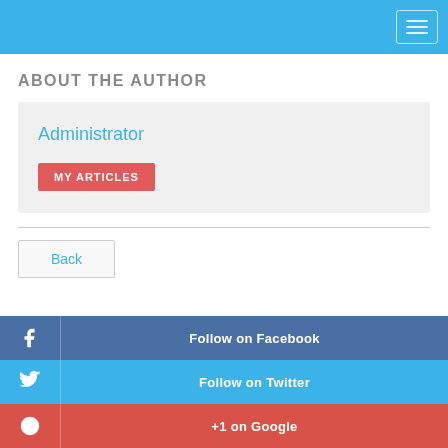ABOUT THE AUTHOR
Administrator
MY ARTICLES
Back
Follow on Facebook
Follow on Twitter
+1 on Google